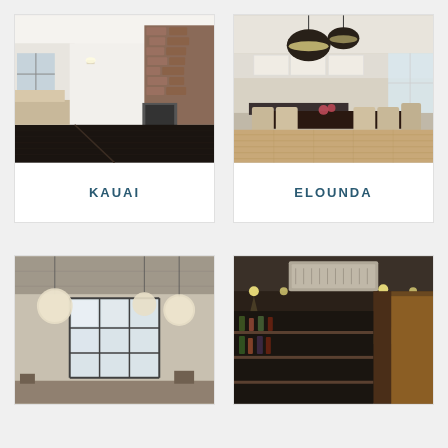[Figure (photo): Interior room with dark hardwood floors, brick wall, white walls and ceiling, pendant light, kitchen visible in background - KAUAI flooring]
KAUAI
[Figure (photo): Dining room with light hardwood floors, dark dining table, cream chairs, pendant lamps, white kitchen in background - ELOUNDA flooring]
ELOUNDA
[Figure (photo): Living/dining space with industrial style, white globe pendant lights, large windows with steel frames]
[Figure (photo): Dark interior space with ceiling-mounted AC unit, bar or restaurant setting]